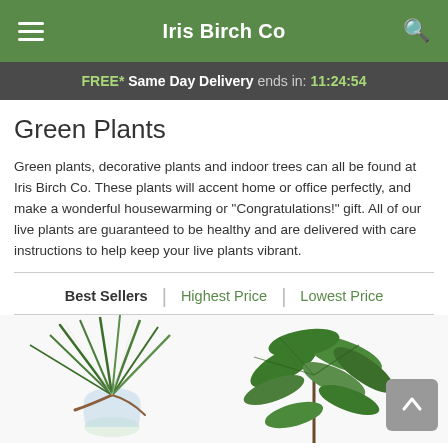Iris Birch Co
FREE* Same Day Delivery ends in: 11:24:54
Green Plants
Green plants, decorative plants and indoor trees can all be found at Iris Birch Co. These plants will accent home or office perfectly, and make a wonderful housewarming or "Congratulations!" gift. All of our live plants are guaranteed to be healthy and are delivered with care instructions to help keep your live plants vibrant.
Best Sellers | Highest Price | Lowest Price
[Figure (photo): Two green plant photos side by side — left: a spiky green plant with long narrow leaves in a glass vase; right: a leafy green tropical plant with large palmate leaves]